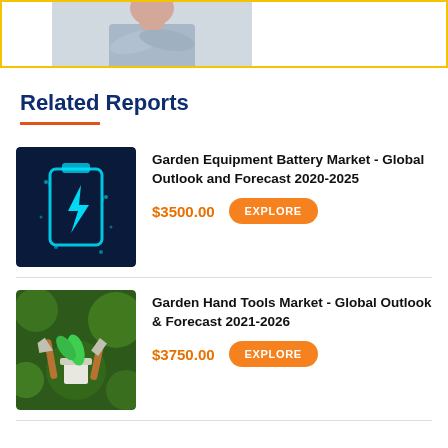[Figure (photo): Person with arms crossed, upper body visible, shown inside a yellow-bordered banner area]
Related Reports
[Figure (illustration): Dark blue background with a glowing cyan digital battery icon with a lightning bolt]
Garden Equipment Battery Market - Global Outlook and Forecast 2020-2025
$3500.00
[Figure (photo): Garden hand tools including trowels and a small plant pot with green bokeh background]
Garden Hand Tools Market - Global Outlook & Forecast 2021-2026
$3750.00